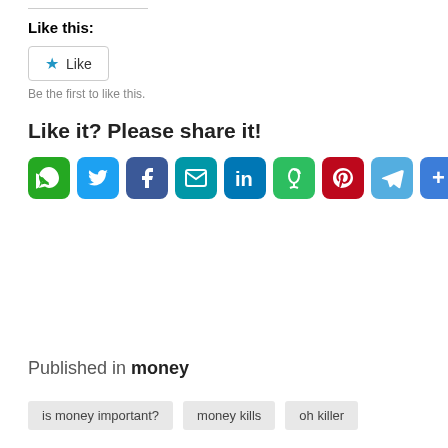Like this:
[Figure (other): Like button with star icon]
Be the first to like this.
Like it? Please share it!
[Figure (infographic): Row of social sharing icons: WhatsApp, Twitter, Facebook, Email, LinkedIn, Evernote, Pinterest, Telegram, More]
Published in money
is money important?
money kills
oh killer